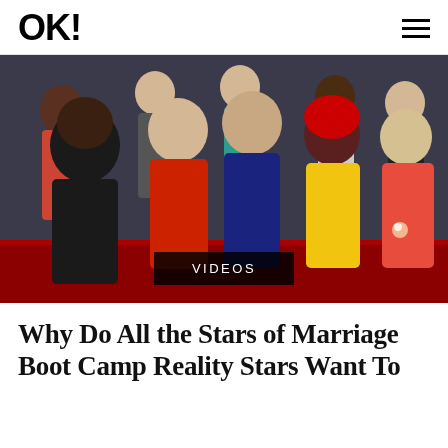OK!
[Figure (photo): Group photo of cast members of Marriage Boot Camp Reality Stars, posed on a red carpet background. Multiple men and women dressed in colorful outfits including red, blue, yellow, and black dresses and suits.]
VIDEOS
Why Do All the Stars of Marriage Boot Camp Reality Stars Want To